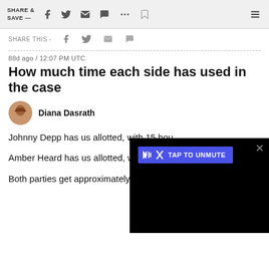SHARE & SAVE —
SHARE THIS -
88d ago / 12:07 PM UTC
How much time each side has used in the case
Diana Dasrath
Johnny Depp has us allotted, with 15 hou
Amber Heard has us allotted, with 4 hour
Both parties get approximately 61 hours to present their